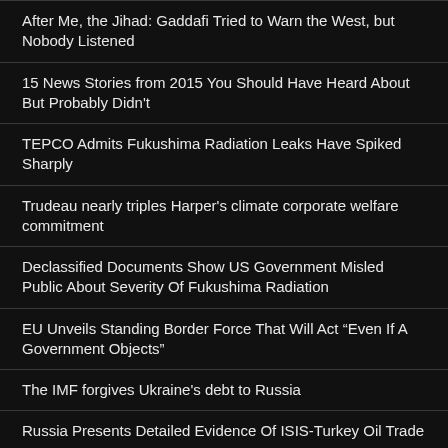After Me, the Jihad: Gaddafi Tried to Warn the West, but Nobody Listened
15 News Stories from 2015 You Should Have Heard About But Probably Didn't
TEPCO Admits Fukushima Radiation Leaks Have Spiked Sharply
Trudeau nearly triples Harper's climate corporate welfare commitment
Declassified Documents Show US Government Misled Public About Severity Of Fukushima Radiation
EU Unveils Standing Border Force That Will Act "Even If A Government Objects"
The IMF forgives Ukraine's debt to Russia
Russia Presents Detailed Evidence Of ISIS-Turkey Oil Trade
US Foreign Policy
Meet The Man Who Funds ISIS: Bilal Erdogan, The Son Of Turkey's